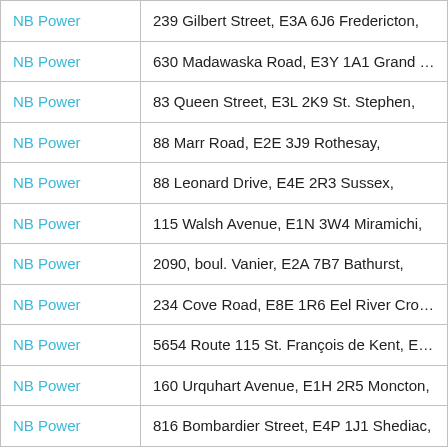| Organization | Address |
| --- | --- |
| NB Power | 239 Gilbert Street, E3A 6J6 Fredericton, |
| NB Power | 630 Madawaska Road, E3Y 1A1 Grand Falls, |
| NB Power | 83 Queen Street, E3L 2K9 St. Stephen, |
| NB Power | 88 Marr Road, E2E 3J9 Rothesay, |
| NB Power | 88 Leonard Drive, E4E 2R3 Sussex, |
| NB Power | 115 Walsh Avenue, E1N 3W4 Miramichi, |
| NB Power | 2090, boul. Vanier, E2A 7B7 Bathurst, |
| NB Power | 234 Cove Road, E8E 1R6 Eel River Crossing, |
| NB Power | 5654 Route 115 St. François de Kent, E4S 3Z |
| NB Power | 160 Urquhart Avenue, E1H 2R5 Moncton, |
| NB Power | 816 Bombardier Street, E4P 1J1 Shediac, |